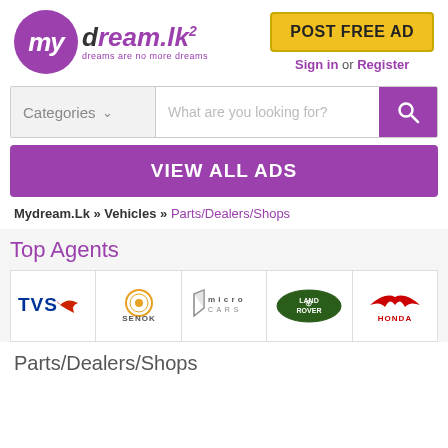[Figure (logo): mydream.lk logo with purple circle containing 'my', 'dream.lk' text, and tagline 'dreams are no more dreams']
[Figure (other): POST FREE AD yellow button]
Sign in or Register
Categories  What are you looking for?
VIEW ALL ADS
Mydream.Lk » Vehicles » Parts/Dealers/Shops
Top Agents
[Figure (logo): TVS logo]
[Figure (logo): SENOK logo]
[Figure (logo): Micro Cars logo]
[Figure (logo): Land Rover logo]
[Figure (logo): Honda logo]
Parts/Dealers/Shops